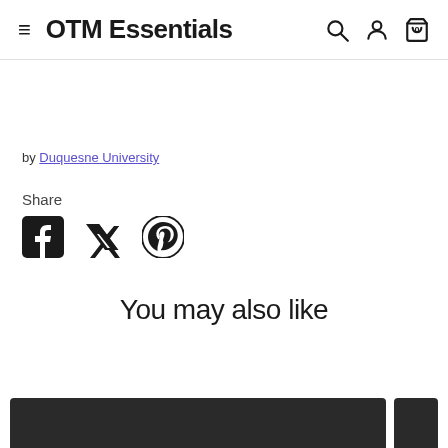OTM Essentials
by Duquesne University
Share
[Figure (other): Social share icons: Facebook, Twitter, Pinterest]
You may also like
[Figure (other): Product thumbnail images row at bottom]